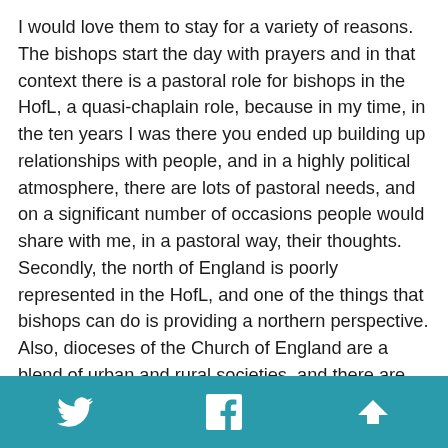I would love them to stay for a variety of reasons. The bishops start the day with prayers and in that context there is a pastoral role for bishops in the HofL, a quasi-chaplain role, because in my time, in the ten years I was there you ended up building up relationships with people, and in a highly political atmosphere, there are lots of pastoral needs, and on a significant number of occasions people would share with me, in a pastoral way, their thoughts. Secondly, the north of England is poorly represented in the HofL, and one of the things that bishops can do is providing a northern perspective. Also, dioceses of the Church of England are a blend of urban and rural societies, and there are very few people who can be representative of such a diverse context, and that gives bishops a unique authority. Also, because we are there, our clergy are in every community, and we are able to speak in a way that others can't.
Twitter | Facebook | Back to top